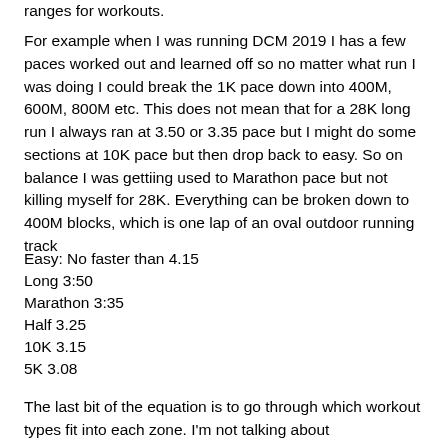ranges for workouts.
For example when I was running DCM 2019 I has a few paces worked out and learned off so no matter what run I was doing I could break the 1K pace down into 400M, 600M, 800M etc. This does not mean that for a 28K long run I always ran at 3.50 or 3.35 pace but I might do some sections at 10K pace but then drop back to easy. So on balance I was gettiing used to Marathon pace but not killing myself for 28K. Everything can be broken down to 400M blocks, which is one lap of an oval outdoor running track
Easy: No faster than 4.15
Long 3:50
Marathon 3:35
Half 3.25
10K 3.15
5K 3.08
The last bit of the equation is to go through which workout types fit into each zone. I'm not talking about